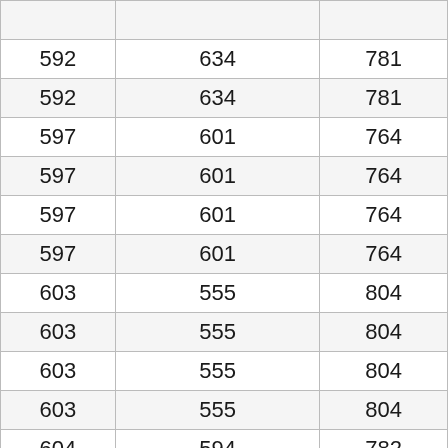|  |  |  |
| --- | --- | --- |
| 592 | 634 | 781 |
| 592 | 634 | 781 |
| 597 | 601 | 764 |
| 597 | 601 | 764 |
| 597 | 601 | 764 |
| 597 | 601 | 764 |
| 603 | 555 | 804 |
| 603 | 555 | 804 |
| 603 | 555 | 804 |
| 603 | 555 | 804 |
| 604 | 594 | 782 |
| 604 | 594 | 782 |
| 604 | 594 | 782 |
| 604 | 594 | 782 |
| 611 | 580 | 821 |
| 611 | 580 | 821 |
| 611 | 580 | 821 |
| 611 | 580 | 821 |